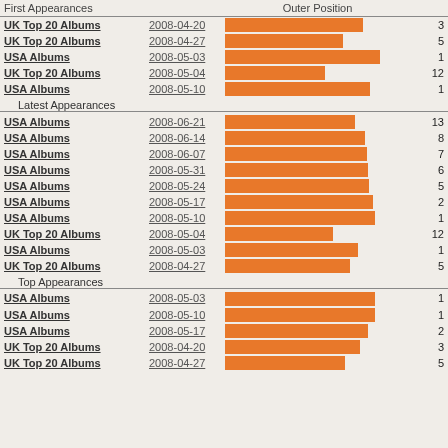| First Appearances |  | Outer Position |  |
| --- | --- | --- | --- |
| UK Top 20 Albums | 2008-04-20 | [bar] | 3 |
| UK Top 20 Albums | 2008-04-27 | [bar] | 5 |
| USA Albums | 2008-05-03 | [bar] | 1 |
| UK Top 20 Albums | 2008-05-04 | [bar] | 12 |
| USA Albums | 2008-05-10 | [bar] | 1 |
| Latest Appearances |  |  |  |
| USA Albums | 2008-06-21 | [bar] | 13 |
| USA Albums | 2008-06-14 | [bar] | 8 |
| USA Albums | 2008-06-07 | [bar] | 7 |
| USA Albums | 2008-05-31 | [bar] | 6 |
| USA Albums | 2008-05-24 | [bar] | 5 |
| USA Albums | 2008-05-17 | [bar] | 2 |
| USA Albums | 2008-05-10 | [bar] | 1 |
| UK Top 20 Albums | 2008-05-04 | [bar] | 12 |
| USA Albums | 2008-05-03 | [bar] | 1 |
| UK Top 20 Albums | 2008-04-27 | [bar] | 5 |
| Top Appearances |  |  |  |
| USA Albums | 2008-05-03 | [bar] | 1 |
| USA Albums | 2008-05-10 | [bar] | 1 |
| USA Albums | 2008-05-17 | [bar] | 2 |
| UK Top 20 Albums | 2008-04-20 | [bar] | 3 |
| UK Top 20 Albums | 2008-04-27 | [bar] | 5 |